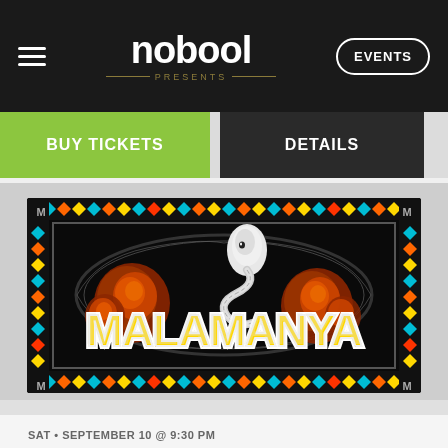nobool PRESENTS | EVENTS
BUY TICKETS | DETAILS
[Figure (illustration): Malamanya event poster with colorful tribal border pattern, orange roses, snake, and stylized chrome/gold 'MALAMANYA' text on black background]
SAT • SEPTEMBER 10 @ 9:30 PM
GRRRL SCOUT: 90's Queer Dance Party